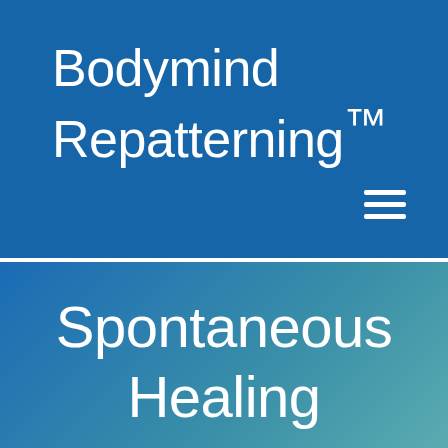Bodymind Repatterning™
[Figure (other): Hamburger menu icon (three horizontal lines) in upper right of header]
Spontaneous Healing